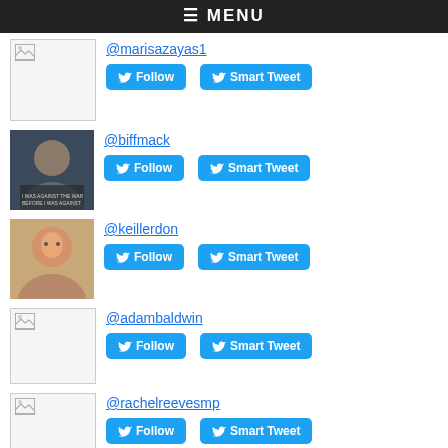≡ MENU
@marisazayas1 | Follow | Smart Tweet
@biffmack | Follow | Smart Tweet
@keillerdon | Follow | Smart Tweet
@adambaldwin | Follow | Smart Tweet
@rachelreevesmp | Follow | Smart Tweet
@tintincognito | Follow | Smart Tweet
Top Replied-To in G1:
@geraldkutney | Follow | Smart Tweet